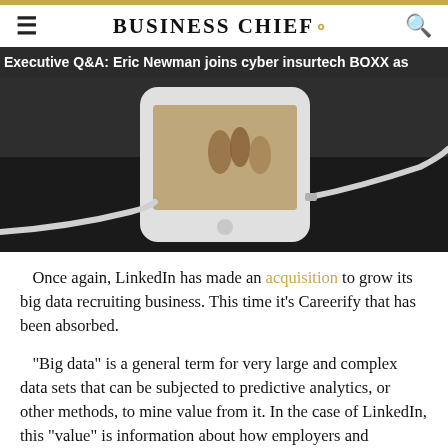BUSINESS CHIEF.
Executive Q&A: Eric Newman joins cyber insurtech BOXX as
[Figure (photo): Close-up photograph of a white smartphone lying on a dark surface with a charging cable, showing a photo of people on screen]
Once again, LinkedIn has made an acquisition to grow its big data recruiting business. This time it's Careerify that has been absorbed.
“Big data” is a general term for very large and complex data sets that can be subjected to predictive analytics, or other methods, to mine value from it. In the case of LinkedIn, this “value” is information about how employers and employees can link up at the